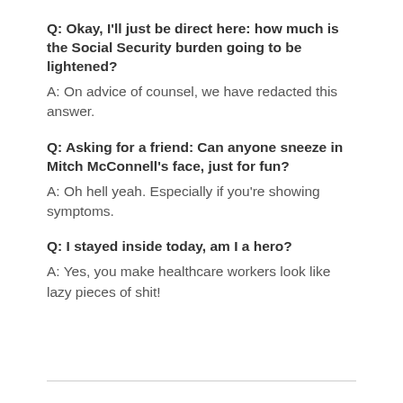Q: Okay, I'll just be direct here: how much is the Social Security burden going to be lightened?
A: On advice of counsel, we have redacted this answer.
Q: Asking for a friend: Can anyone sneeze in Mitch McConnell's face, just for fun?
A: Oh hell yeah. Especially if you're showing symptoms.
Q: I stayed inside today, am I a hero?
A: Yes, you make healthcare workers look like lazy pieces of shit!